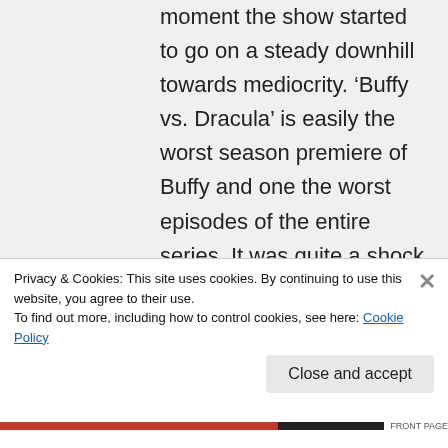moment the show started to go on a steady downhill towards mediocrity. 'Buffy vs. Dracula' is easily the worst season premiere of Buffy and one the worst episodes of the entire series. It was quite a shock for me to go directly from 'Restless' (possibly the best episode of the series) to 'Buff...
Privacy & Cookies: This site uses cookies. By continuing to use this website, you agree to their use.
To find out more, including how to control cookies, see here: Cookie Policy